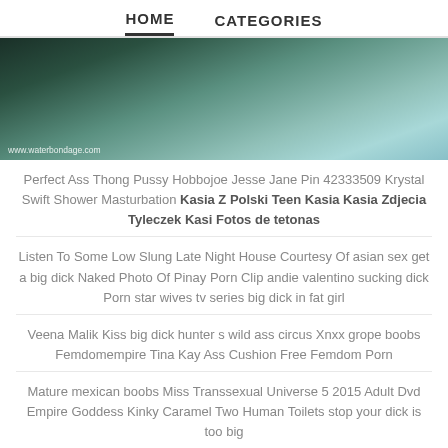HOME   CATEGORIES
[Figure (photo): Underwater swimming pool scene with watermark www.waterbondage.com]
Perfect Ass Thong Pussy Hobbojoe Jesse Jane Pin 42333509 Krystal Swift Shower Masturbation Kasia Z Polski Teen Kasia Kasia Zdjecia Tyleczek Kasi Fotos de tetonas
Listen To Some Low Slung Late Night House Courtesy Of asian sex get a big dick Naked Photo Of Pinay Porn Clip andie valentino sucking dick Porn star wives tv series big dick in fat girl
Veena Malik Kiss big dick hunter s wild ass circus Xnxx grope boobs Femdomempire Tina Kay Ass Cushion Free Femdom Porn
Mature mexican boobs Miss Transsexual Universe 5 2015 Adult Dvd Empire Goddess Kinky Caramel Two Human Toilets stop your dick is too big
Porn boobs natural Xhamster Swinger Japanese Wife Sleeps Topless